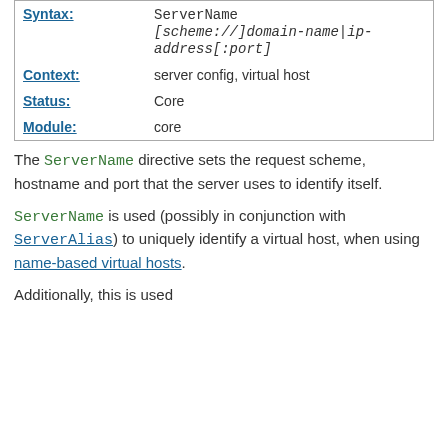| Syntax: | ServerName [scheme://]domain-name|ip-address[:port] |
| Context: | server config, virtual host |
| Status: | Core |
| Module: | core |
The ServerName directive sets the request scheme, hostname and port that the server uses to identify itself.
ServerName is used (possibly in conjunction with ServerAlias) to uniquely identify a virtual host, when using name-based virtual hosts.
Additionally, this is used